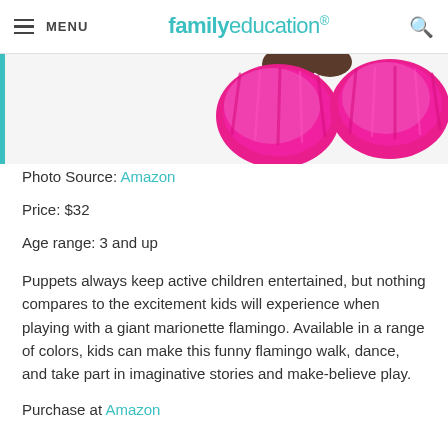MENU | familyeducation
[Figure (photo): Pink fluffy flamingo puppet feet/legs visible against white background, with teal vertical bar on left side]
Photo Source: Amazon
Price: $32
Age range: 3 and up
Puppets always keep active children entertained, but nothing compares to the excitement kids will experience when playing with a giant marionette flamingo. Available in a range of colors, kids can make this funny flamingo walk, dance, and take part in imaginative stories and make-believe play.
Purchase at Amazon